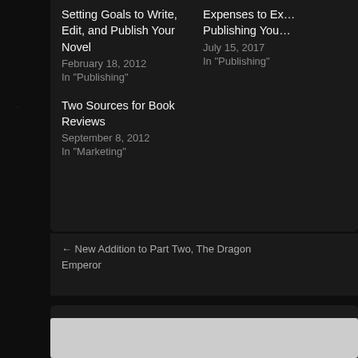Setting Goals to Write, Edit, and Publish Your Novel
February 18, 2012
In "Publishing"
Expenses to Ex... Publishing You...
July 15, 2017
In "Publishing"
Two Sources for Book Reviews
September 8, 2012
In "Marketing"
← New Addition to Part Two, The Dragon Emperor
Leave a Reply
Your email address will not be published. Required fields are mark...